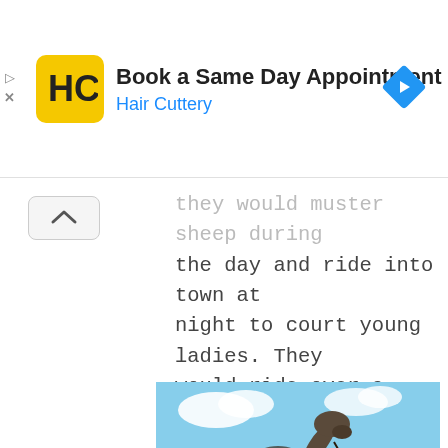[Figure (infographic): Advertisement banner for Hair Cuttery: 'Book a Same Day Appointment', with yellow HC logo and blue navigation arrow icon]
they would muster sheep during the day and ride into town at night to court young ladies. They would ride over a tyranny of distance next to great bullock trains, laden with bales of wool, to the shipping port of Morpeth just on one hundred miles away.
[Figure (photo): Bronze statue of a horse and rider/handler against a blue sky with clouds. The statue depicts a stockman with a horse, in an outdoor setting with palm trees visible.]